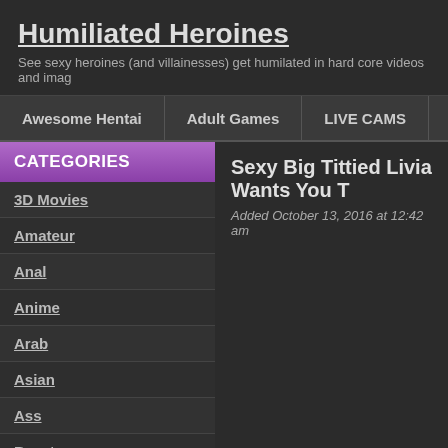Humiliated Heroines
See sexy heroines (and villainesses) get humilated in hard core videos and imag
Awesome Hentai | Adult Games | LIVE CAMS
CATEGORIES
3D Movies
Amateur
Anal
Anime
Arab
Asian
Ass
Beast
Big Tits
Sexy Big Tittied Livia Wants You T
Added October 13, 2016 at 12:42 am